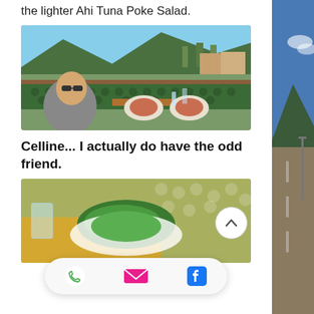the lighter  Ahi Tuna Poke Salad.
[Figure (photo): Woman with sunglasses smiling at outdoor restaurant/patio table with food plates, mountain and town in background]
Celline...  I actually do have the odd friend.
[Figure (photo): Close-up of food dish at outdoor patio restaurant, green lattice fence background]
[Figure (infographic): Contact action bar with phone, email, and Facebook icons]